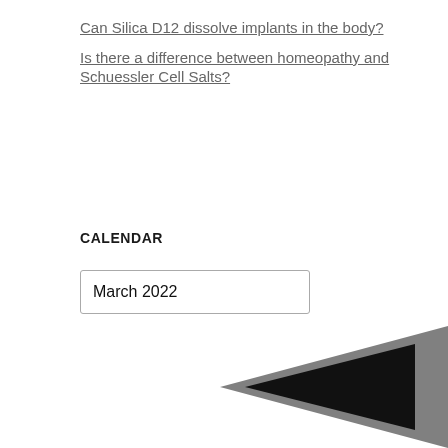Can Silica D12 dissolve implants in the body?
Is there a difference between homeopathy and Schuessler Cell Salts?
CALENDAR
March 2022
[Figure (illustration): A left-pointing chevron arrow shape composed of two overlapping triangular forms — one dark gray and one black — pointing left, partially visible at the bottom of the page.]